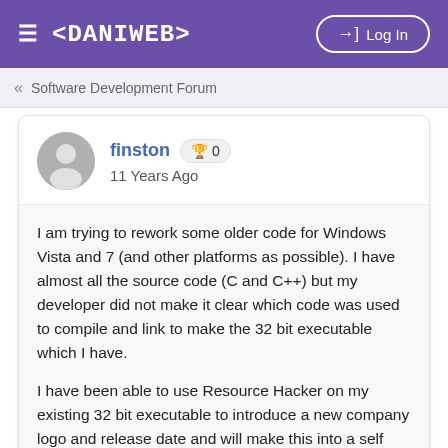≡ <DANIWEB>  →] Log In
« Software Development Forum
finston 🏆 0
11 Years Ago
I am trying to rework some older code for Windows Vista and 7 (and other platforms as possible). I have almost all the source code (C and C++) but my developer did not make it clear which code was used to compile and link to make the 32 bit executable which I have.

I have been able to use Resource Hacker on my existing 32 bit executable to introduce a new company logo and release date and will make this into a self extracting executable using iexpress, nsis or Self extracting Archive utility 16.0 So far so good.